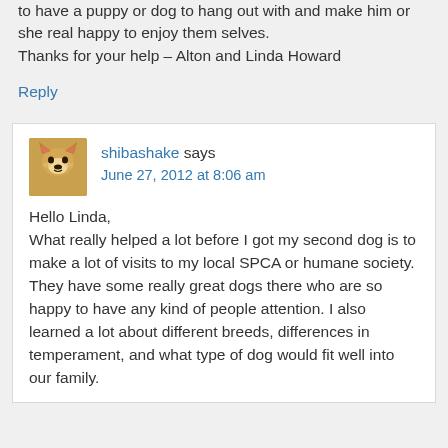to have a puppy or dog to hang out with and make him or she real happy to enjoy them selves.
Thanks for your help – Alton and Linda Howard
Reply
shibashake says
June 27, 2012 at 8:06 am
Hello Linda,
What really helped a lot before I got my second dog is to make a lot of visits to my local SPCA or humane society. They have some really great dogs there who are so happy to have any kind of people attention. I also learned a lot about different breeds, differences in temperament, and what type of dog would fit well into our family.